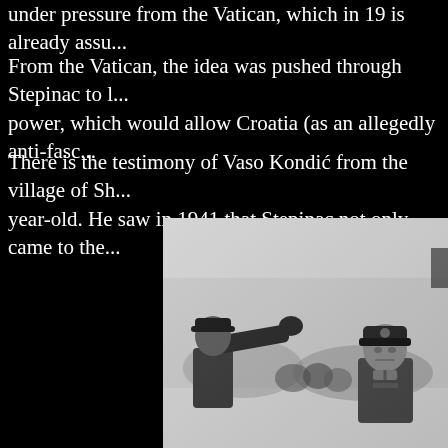under pressure from the Vatican, which in 19 is already assu...
From the Vatican, the idea was pushed through Stepinac to l... power, which would allow Croatia (as an allegedly anti-fasc...
There is the testimony of Vaso Kondić from the village of Sh... year-old. He saw in 1941 that Stepinac not only came to the...
[Figure (photo): Black and white historical photograph showing a group of military figures, one giving a salute with an outstretched arm, another wearing a military cap with insignia, crowd visible in background.]